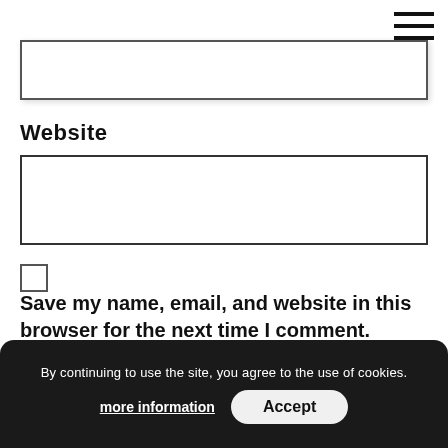[Figure (other): Hamburger menu icon (three horizontal lines) in top right corner]
[Figure (other): Partially visible text input field at the top of the page]
Website
[Figure (other): Website text input field (empty)]
[Figure (other): Checkbox (unchecked)]
Save my name, email, and website in this browser for the next time I comment.
[Figure (other): Post Comment button]
By continuing to use the site, you agree to the use of cookies.
more information
Accept
Proudly powered by WordPress | Theme: Neo Magazine